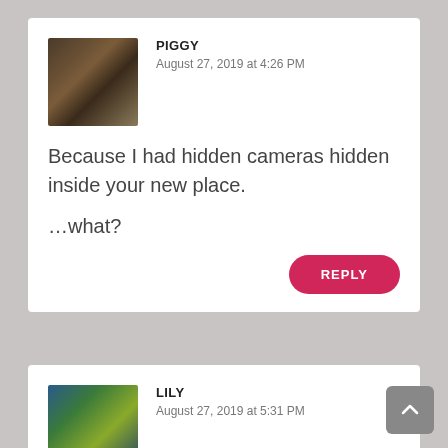[Figure (photo): Avatar photo of user Piggy — dark furry animal (dog or similar) close-up]
PIGGY
August 27, 2019 at 4:26 PM
Because I had hidden cameras hidden inside your new place.

...what?
REPLY
[Figure (photo): Avatar photo of user Lily — satellite/map view of a coastline or landmass]
LILY
August 27, 2019 at 5:31 PM
I don't know how you made this article about lowering expectations feel so incredibly inspiring. But you did. I'm